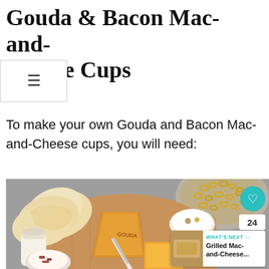Gouda & Bacon Mac-and-Cheese Cups
To make your own Gouda and Bacon Mac-and-Cheese cups, you will need:
[Figure (photo): Overhead flat-lay photo on a grey background showing ingredients for Gouda and Bacon Mac-and-Cheese cups: a bowl of elbow macaroni, sliced white bread, a wedge of Gouda cheese, a block of cheddar cheese, a small jar of milk or cream, a small white bowl with spices, a small bowl with cooked bacon bits, a wooden cutting board, and a knife. UI overlays include a teal heart button, a share button showing 24 shares, and a 'What's Next' card for 'Grilled Mac-and-Cheese...']